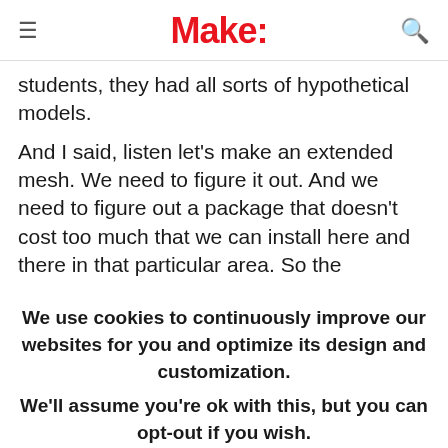Make:
students, they had all sorts of hypothetical models.
And I said, listen let's make an extended mesh. We need to figure it out. And we need to figure out a package that doesn't cost too much that we can install here and there in that particular area. So the
We use cookies to continuously improve our websites for you and optimize its design and customization.
We'll assume you're ok with this, but you can opt-out if you wish.
CONFIGURE
ACCEPT